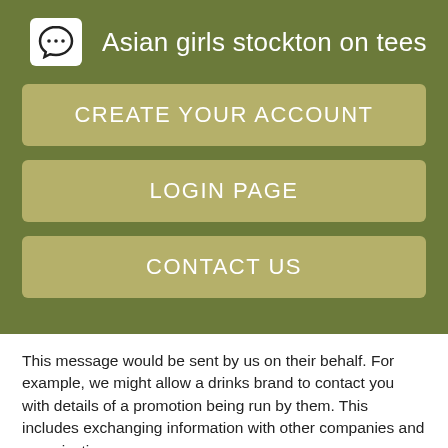Asian girls stockton on tees
CREATE YOUR ACCOUNT
LOGIN PAGE
CONTACT US
This message would be sent by us on their behalf. For example, we might allow a drinks brand to contact you with details of a promotion being run by them. This includes exchanging information with other companies and organisations.
Information we receive about you through your to our Website via social media, for example through Facebook, Instagram Farmers dating kelowna Twitter. If we combine any aggregate data with your personal data, so that it can directly or indirectly